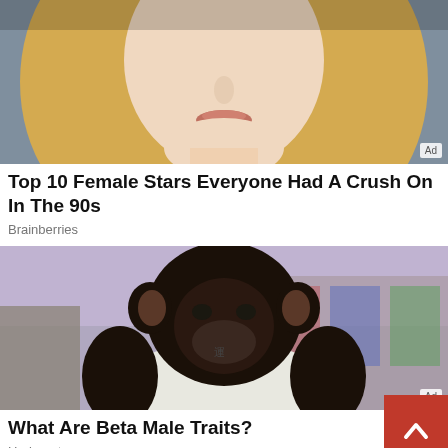[Figure (photo): Close-up photo of a blonde woman's face with neutral expression, outdoor background. 'Ad' badge in bottom-right corner.]
Top 10 Female Stars Everyone Had A Crush On In The 90s
Brainberries
[Figure (photo): Digitally edited photo of a chimpanzee wearing a white tank top and silver chain necklace, with urban graffiti background. 'Ad' badge in bottom-right corner.]
What Are Beta Male Traits?
Herbeauty